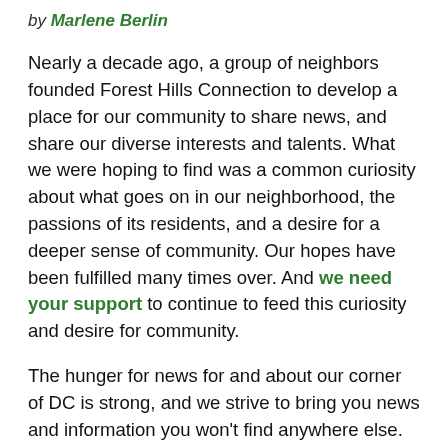by Marlene Berlin
Nearly a decade ago, a group of neighbors founded Forest Hills Connection to develop a place for our community to share news, and share our diverse interests and talents. What we were hoping to find was a common curiosity about what goes on in our neighborhood, the passions of its residents, and a desire for a deeper sense of community. Our hopes have been fulfilled many times over. And we need your support to continue to feed this curiosity and desire for community.
The hunger for news for and about our corner of DC is strong, and we strive to bring you news and information you won't find anywhere else. For example, Forest Hills Connection was